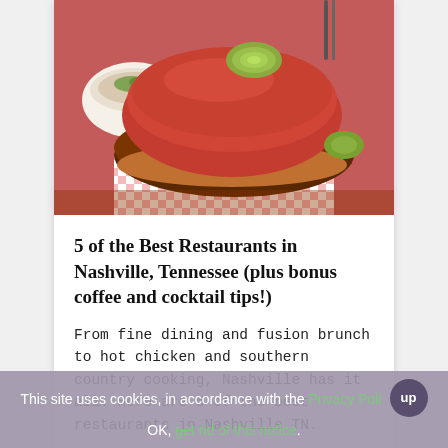[Figure (photo): A Nashville hot chicken sandwich with a red bun, crispy fried chicken, melted white sauce, and a pickle slice on top, served in a red and white checkered paper basket. A white bowl with a side dish is visible in the background.]
5 of the Best Restaurants in Nashville, Tennessee (plus bonus coffee and cocktail tips!)
From fine dining and fusion brunch to hot chicken and southern country cooking, Nashville has it all. Here are 5 of the best restaurants in Nashville TN.
This site uses cookies, in accordance with the Privacy Policy. OK, get rid of this notice.